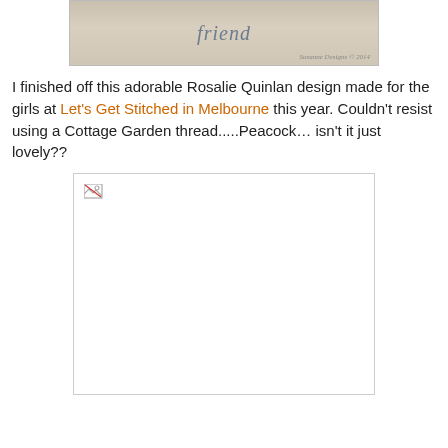[Figure (photo): Partial embroidery design showing decorative text 'friend' with scalloped border in blue and purple on linen fabric, with copyright text 'Susanne Designs © 2014']
I finished off this adorable Rosalie Quinlan design made for the girls at Let's Get Stitched in Melbourne this year. Couldn't resist using a Cottage Garden thread.....Peacock… isn't it just lovely??
[Figure (photo): Broken/missing image placeholder — white rectangle with border and broken image icon in top-left corner]